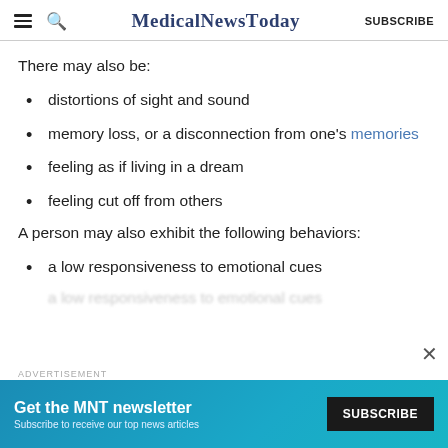MedicalNewsToday SUBSCRIBE
There may also be:
distortions of sight and sound
memory loss, or a disconnection from one's memories
feeling as if living in a dream
feeling cut off from others
A person may also exhibit the following behaviors:
a low responsiveness to emotional cues
[Figure (infographic): Advertisement banner for MNT newsletter with text: Get the MNT newsletter. Subscribe to receive our top news articles. SUBSCRIBE button.]